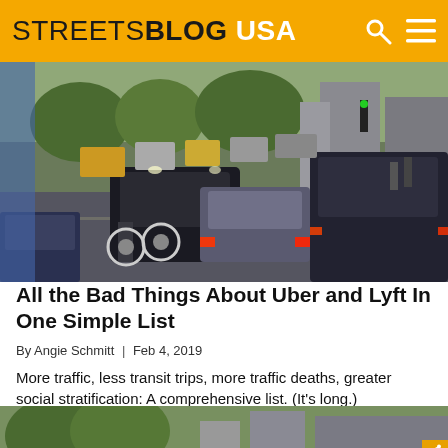STREETSBLOG USA
[Figure (photo): Urban street scene with heavy traffic congestion, multiple vehicles including SUVs with bike racks, dense city buildings in background]
All the Bad Things About Uber and Lyft In One Simple List
By Angie Schmitt | Feb 4, 2019
More traffic, less transit trips, more traffic deaths, greater social stratification: A comprehensive list. (It's long.)
[Figure (photo): Partial view of another urban street scene, bottom of page]